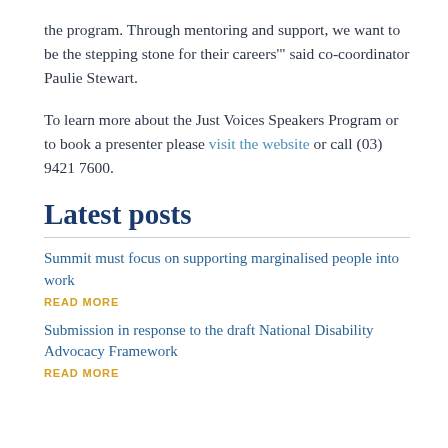the program. Through mentoring and support, we want to be the stepping stone for their careers'" said co-coordinator Paulie Stewart.
To learn more about the Just Voices Speakers Program or to book a presenter please visit the website or call (03) 9421 7600.
Latest posts
Summit must focus on supporting marginalised people into work
READ MORE
Submission in response to the draft National Disability Advocacy Framework
READ MORE